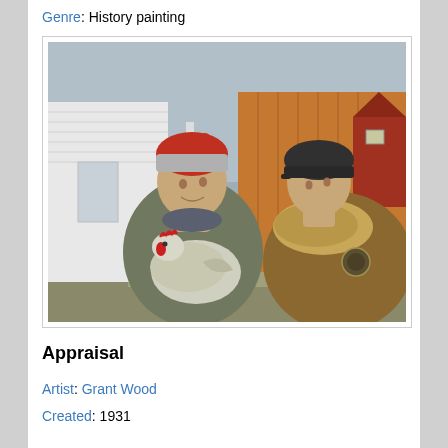Genre: History painting
[Figure (photo): Painting by Grant Wood titled 'Appraisal' (1931). Two figures facing each other outdoors near farm buildings. Left figure is a farm woman wearing a red and grey knit cap and grey sweater, holding a white chicken. Right figure wears a dark riding helmet and a brown fur-trimmed coat. Background shows a white house, wooden barn, and grey sky.]
Appraisal
Artist: Grant Wood
Created: 1931